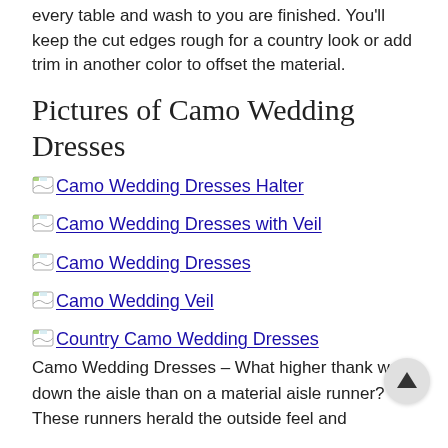every table and wash to you are finished. You'll keep the cut edges rough for a country look or add trim in another color to offset the material.
Pictures of Camo Wedding Dresses
Camo Wedding Dresses Halter
Camo Wedding Dresses with Veil
Camo Wedding Dresses
Camo Wedding Veil
Country Camo Wedding Dresses
Camo Wedding Dresses – What higher thank walk down the aisle than on a material aisle runner? These runners herald the outside feel and